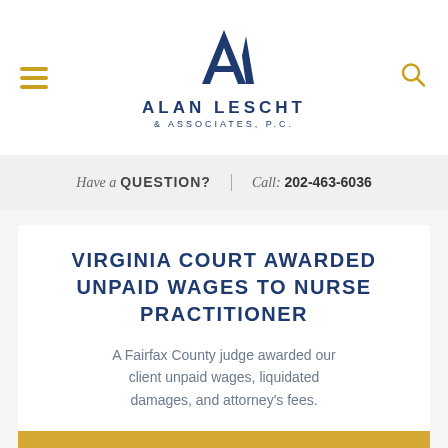[Figure (logo): Alan Lescht & Associates, P.C. law firm logo with stylized A and L monogram in navy blue]
Have a QUESTION? | Call: 202-463-6036
VIRGINIA COURT AWARDED UNPAID WAGES TO NURSE PRACTITIONER
A Fairfax County judge awarded our client unpaid wages, liquidated damages, and attorney's fees.
Learn More